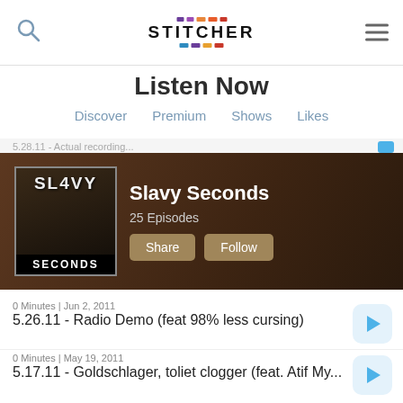Stitcher
Listen Now
Discover  Premium  Shows  Likes
[Figure (screenshot): Slavy Seconds podcast hero banner with album art showing 'SLAVY SECONDS' text, title 'Slavy Seconds', '25 Episodes', Share and Follow buttons on dark brown background]
0 Minutes | Jun 2, 2011
5.26.11 - Radio Demo (feat 98% less cursing)
0 Minutes | May 19, 2011
5.17.11 - Goldschlager, toliet clogger (feat. Atif My...
0 Minutes | May 3, 2011
4.14.11 - Comedic Currency (feat. Atif Myers)